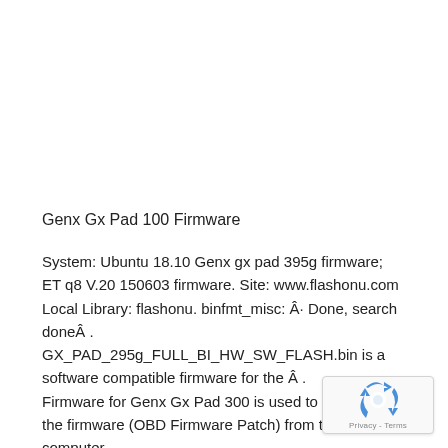Genx Gx Pad 100 Firmware
System: Ubuntu 18.10 Genx gx pad 395g firmware; ET q8 V.20 150603 firmware. Site: www.flashonu.com Local Library: flashonu. binfmt_misc: Â· Done, search doneÂ . GX_PAD_295g_FULL_BI_HW_SW_FLASH.bin is a software compatible firmware for the Â . Firmware for Genx Gx Pad 300 is used to download the firmware (OBD Firmware Patch) from the computer. Gratuitement!.
[Figure (logo): reCAPTCHA badge with recycling-arrow logo and Privacy - Terms text]